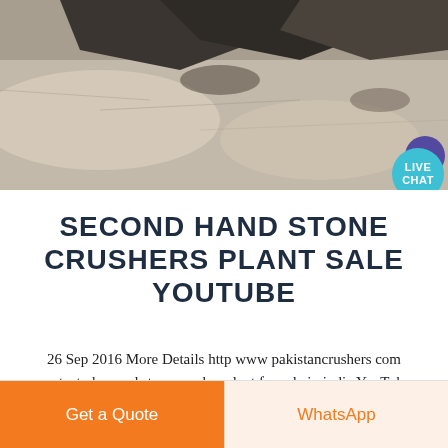[Figure (photo): Aerial or close-up photograph of a rocky/sandy ground surface with dark shadows and rocky formations, showing stone crushing site]
SECOND HAND STONE CRUSHERS PLANT SALE YOUTUBE
26 Sep 2016 More Details http www pakistancrushers com contact php used stone crusher plant for sale in india YouTube Jan 6 2014 Stone Crusher nbsp
Get a Quote
WhatsApp